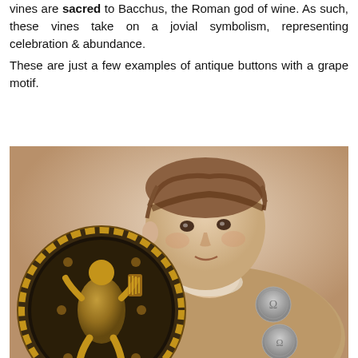vines are sacred to Bacchus, the Roman god of wine. As such, these vines take on a jovial symbolism, representing celebration & abundance.
These are just a few examples of antique buttons with a grape motif.
[Figure (photo): Sepia-toned vintage photograph of a young child with curly hair, wearing a knitted sweater. Overlaid in the lower-left corner is a large antique brass/gold button featuring a figure (Bacchus) in relief surrounded by a twisted rope border. Two smaller buttons are visible on the child's sweater.]